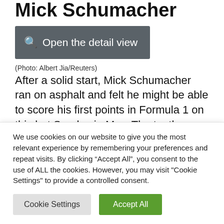Mick Schumacher
[Figure (screenshot): Dark grey button with magnifying glass icon and text 'Open the detail view']
(Photo: Albert Jia/Reuters)
After a solid start, Mick Schumacher ran on asphalt and felt he might be able to score his first points in Formula 1 on this hot Sunday in May. The tenth started and immediately formed four positions. But then came the
We use cookies on our website to give you the most relevant experience by remembering your preferences and repeat visits. By clicking “Accept All”, you consent to the use of ALL the cookies. However, you may visit "Cookie Settings" to provide a controlled consent.